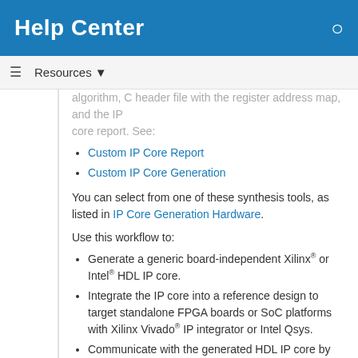Help Center
Resources ▼
algorithm, C header file with the register address map, and the IP core report. See:
Custom IP Core Report
Custom IP Core Generation
You can select from one of these synthesis tools, as listed in IP Core Generation Hardware.
Use this workflow to:
Generate a generic board-independent Xilinx® or Intel® HDL IP core.
Integrate the IP core into a reference design to target standalone FPGA boards or SoC platforms with Xilinx Vivado® IP integrator or Intel Qsys.
Communicate with the generated HDL IP core by using embedded ARM processor or, from MATLAB, by using the HDL Verifier AXI Manager. See Set Up for AXI Manager (HDL Verifier).
You can integrate the HDL IP core into HDL Coder™ provided